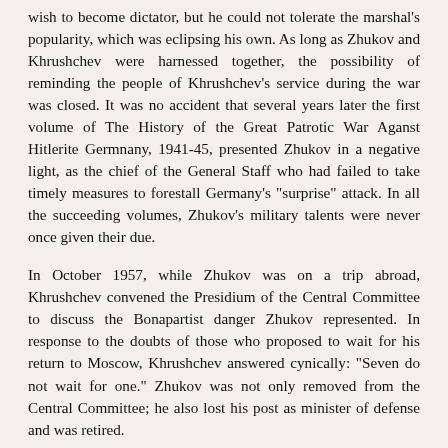wish to become dictator, but he could not tolerate the marshal's popularity, which was eclipsing his own. As long as Zhukov and Khrushchev were harnessed together, the possibility of reminding the people of Khrushchev's service during the war was closed. It was no accident that several years later the first volume of The History of the Great Patrotic War Aganst Hitlerite Germnany, 1941-45, presented Zhukov in a negative light, as the chief of the General Staff who had failed to take timely measures to forestall Germany's "surprise" attack. In all the succeeding volumes, Zhukov's military talents were never once given their due.
In October 1957, while Zhukov was on a trip abroad, Khrushchev convened the Presidium of the Central Committee to discuss the Bonapartist danger Zhukov represented. In response to the doubts of those who proposed to wait for his return to Moscow, Khrushchev answered cynically: "Seven do not wait for one." Zhukov was not only removed from the Central Committee; he also lost his post as minister of defense and was retired.
The results of Khrushchev's struggle for the position of Leader soon became apparent. In March 1958 Bulganin was relieved of his duties as chairman of the Council of Ministers of the USSR. He was replaced by Khrushchev himself, who concentrated in his own hands - just as Stalin had, and for a short time Malenkov as well - the two key posts in the state: party leader and prime minister.